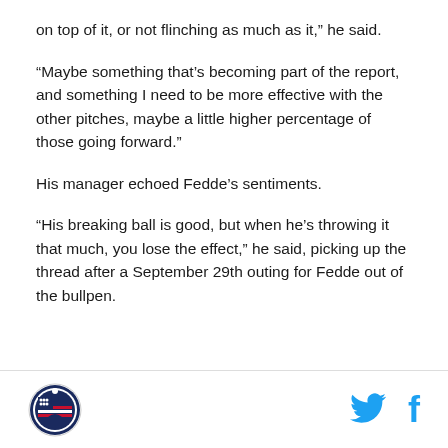on top of it, or not flinching as much as it,” he said.
“Maybe something that’s becoming part of the report, and something I need to be more effective with the other pitches, maybe a little higher percentage of those going forward.”
His manager echoed Fedde’s sentiments.
“His breaking ball is good, but when he’s throwing it that much, you lose the effect,” he said, picking up the thread after a September 29th outing for Fedde out of the bullpen.
[logo] [twitter] [facebook]